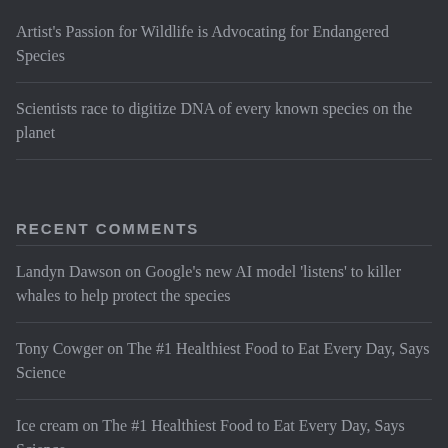Artist's Passion for Wildlife is Advocating for Endangered Species
Scientists race to digitize DNA of every known species on the planet
RECENT COMMENTS
Landyn Dawson on Google's new AI model 'listens' to killer whales to help protect the species
Tony Cowger on The #1 Healthiest Food to Eat Every Day, Says Science
Ice cream on The #1 Healthiest Food to Eat Every Day, Says Science
Jumper Tech on Bakery feeds stranded motorists